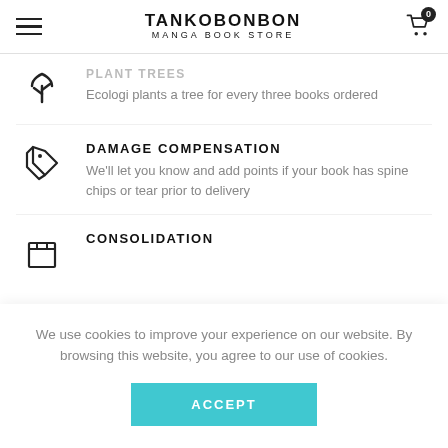TANKOBONBON MANGA BOOK STORE
PLANT TREES
Ecologi plants a tree for every three books ordered
DAMAGE COMPENSATION
We'll let you know and add points if your book has spine chips or tear prior to delivery
CONSOLIDATION
We use cookies to improve your experience on our website. By browsing this website, you agree to our use of cookies.